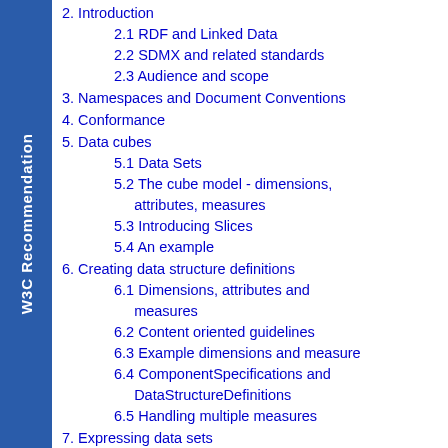W3C Recommendation
2. Introduction
2.1 RDF and Linked Data
2.2 SDMX and related standards
2.3 Audience and scope
3. Namespaces and Document Conventions
4. Conformance
5. Data cubes
5.1 Data Sets
5.2 The cube model - dimensions, attributes, measures
5.3 Introducing Slices
5.4 An example
6. Creating data structure definitions
6.1 Dimensions, attributes and measures
6.2 Content oriented guidelines
6.3 Example dimensions and measure
6.4 ComponentSpecifications and DataStructureDefinitions
6.5 Handling multiple measures
7. Expressing data sets
7.1 Data sets and observations
7.2 Slices and groups of observations
8. Concept schemes and code lists
8.1 Coded values for components properties